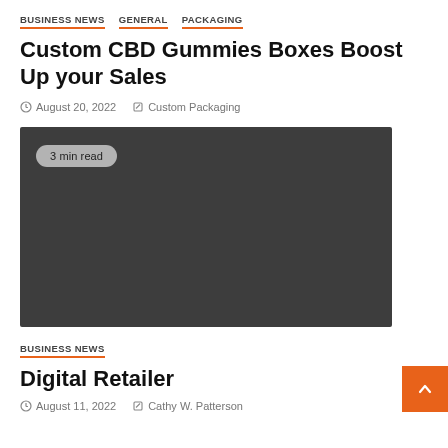BUSINESS NEWS   GENERAL   PACKAGING
Custom CBD Gummies Boxes Boost Up your Sales
August 20, 2022   Custom Packaging
[Figure (photo): Dark gray placeholder image with '3 min read' badge in top-left corner]
BUSINESS NEWS
Digital Retailer
August 11, 2022   Cathy W. Patterson